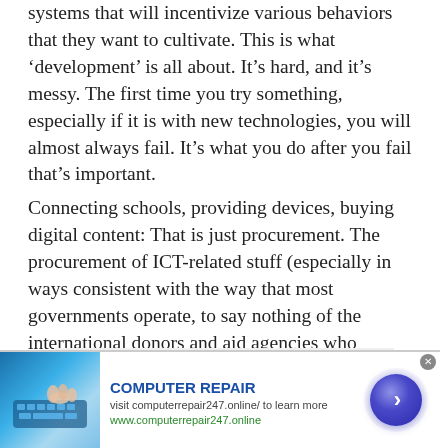systems that will incentivize various behaviors that they want to cultivate. This is what ‘development’ is all about. It’s hard, and it’s messy. The first time you try something, especially if it is with new technologies, you will almost always fail. It’s what you do after you fail that’s important.
Connecting schools, providing devices, buying digital content: That is just procurement. The procurement of ICT-related stuff (especially in ways consistent with the way that most governments operate, to say nothing of the international donors and aid agencies who support them) is no small task. But it’s the easiest one.
[Figure (other): Advertisement banner with computer repair ad. Contains image of hands on keyboard, bold blue COMPUTER REPAIR title, website URL visit computerrepair247.online/ to learn more, green link www.computerrepair247.online, and a dark blue circular arrow button on the right.]